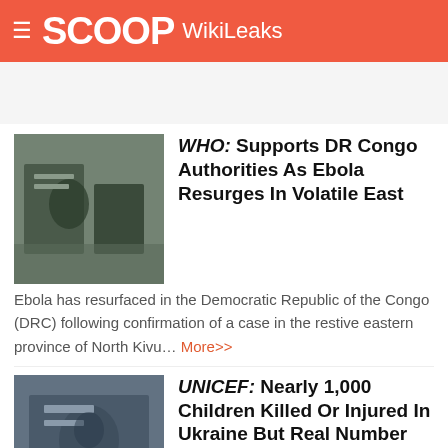SCOOP WikiLeaks
[Figure (photo): Photo of a medical/field setting related to Ebola outbreak in DR Congo]
WHO: Supports DR Congo Authorities As Ebola Resurges In Volatile East
Ebola has resurfaced in the Democratic Republic of the Congo (DRC) following confirmation of a case in the restive eastern province of North Kivu... More>>
[Figure (photo): Photo related to UNICEF Ukraine children report]
UNICEF: Nearly 1,000 Children Killed Or Injured In Ukraine But Real Number Likely Higher
Nearly 1,000 boys and girls have been killed or injured in the war in Ukraine, the head of the UN Children's Fund (UNICEF) reported on Monday, underscoring the urgent need for peace...